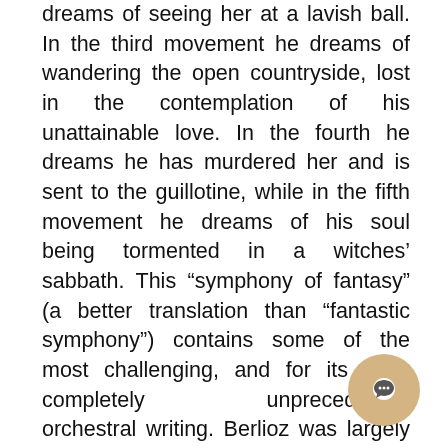dreams of seeing her at a lavish ball. In the third movement he dreams of wandering the open countryside, lost in the contemplation of his unattainable love. In the fourth he dreams he has murdered her and is sent to the guillotine, while in the fifth movement he dreams of his soul being tormented in a witches' sabbath. This “symphony of fantasy” (a better translation than “fantastic symphony”) contains some of the most challenging, and for its time, completely unprecedented orchestral writing. Berlioz was largely self-taught as a composer and this enabled him to move in new directions and create new sounds with the orchestra at a time when the